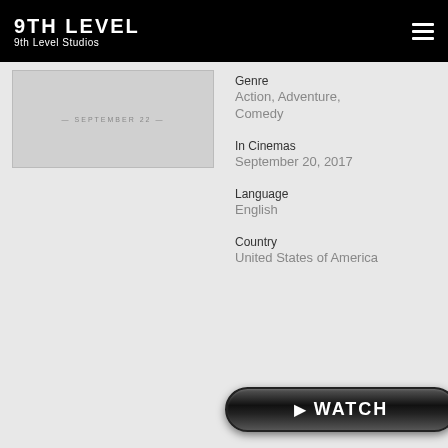9TH LEVEL
9th Level Studios
[Figure (photo): Movie thumbnail/poster image with text '--- SEPTEMBER 22 ---' visible]
Genre
Action, Adventure, Comedy
In Cinemas
September 20, 2017
Language
English
Country
United States of America
[Figure (other): Black glossy WATCH button with play triangle icon]